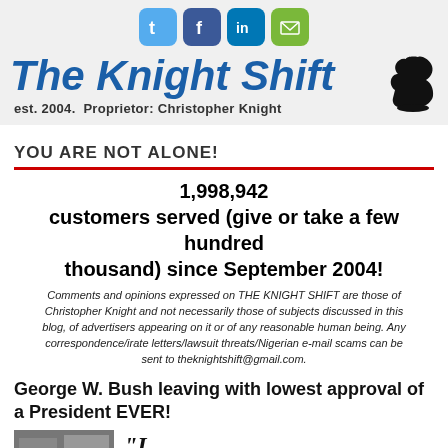[Figure (other): Social media icons: Twitter (blue bird), Facebook (f), LinkedIn (in), Email (envelope)]
The Knight Shift
est. 2004.  Proprietor: Christopher Knight
YOU ARE NOT ALONE!
1,998,942 customers served (give or take a few hundred thousand) since September 2004!
Comments and opinions expressed on THE KNIGHT SHIFT are those of Christopher Knight and not necessarily those of subjects discussed in this blog, of advertisers appearing on it or of any reasonable human being. Any correspondence/irate letters/lawsuit threats/Nigerian e-mail scams can be sent to theknightshift@gmail.com.
George W. Bush leaving with lowest approval of a President EVER!